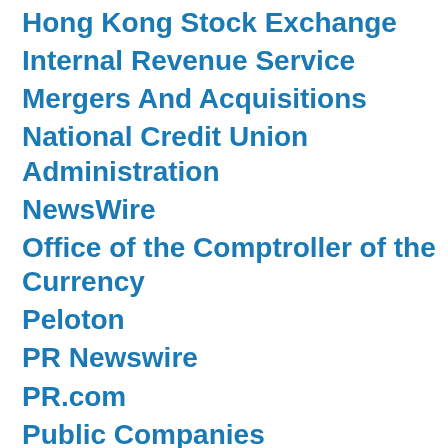Hong Kong Stock Exchange
Internal Revenue Service
Mergers And Acquisitions
National Credit Union Administration
NewsWire
Office of the Comptroller of the Currency
Peloton
PR Newswire
PR.com
Public Companies